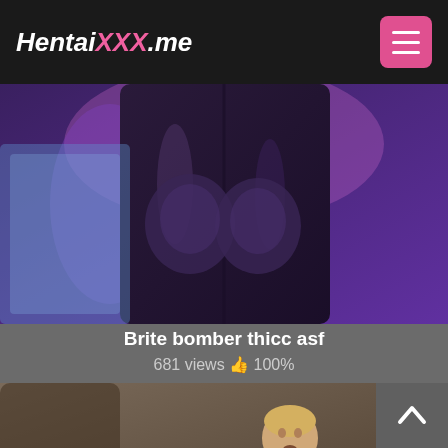HentaiXXX.me
[Figure (illustration): 3D rendered dark fantasy illustration showing a large dark-suited figure from behind with purple background]
Brite bomber thicc asf
681 views 👍 100%
[Figure (illustration): 3D rendered illustration of two male figures in an intimate scene on a grey surface]